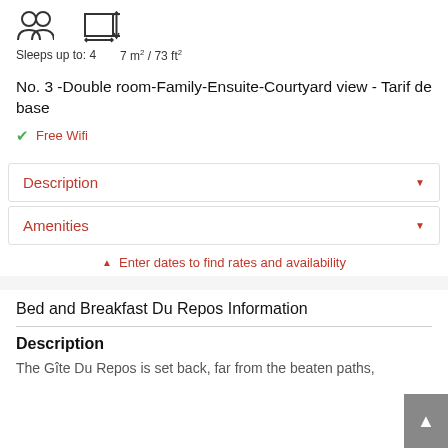Sleeps up to: 4    7 m² / 73 ft²
No. 3 -Double room-Family-Ensuite-Courtyard view - Tarif de base
✔ Free Wifi
Description
Amenities
▲ Enter dates to find rates and availability
Bed and Breakfast Du Repos Information
Description
The Gîte Du Repos is set back, far from the beaten paths,